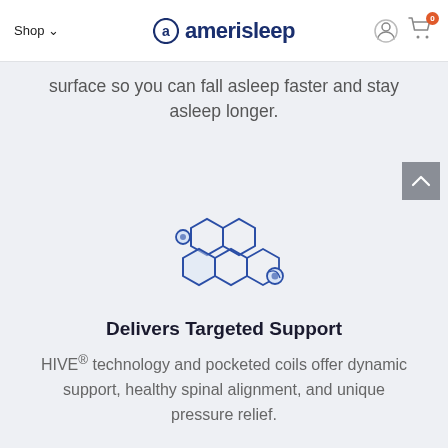Shop ˅   amerisleep   [user icon] [cart icon, badge: 0]
surface so you can fall asleep faster and stay asleep longer.
[Figure (illustration): Honeycomb hexagon HIVE technology icon with small circular connectors, rendered in blue outline style]
Delivers Targeted Support
HIVE® technology and pocketed coils offer dynamic support, healthy spinal alignment, and unique pressure relief.